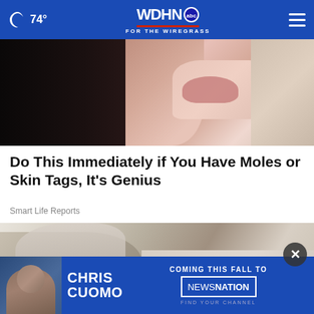🌙 74° | WDHN abc FOR THE WIREGRASS
[Figure (photo): Close-up photo of a woman with dark hair near her face, appearing to hold a thin stick near her skin]
Do This Immediately if You Have Moles or Skin Tags, It's Genius
Smart Life Reports
[Figure (photo): Close-up photo of a dry, cracked heel/foot on a wooden floor surface]
[Figure (screenshot): Advertisement banner: CHRIS CUOMO COMING THIS FALL TO NEWSNATION FIND YOUR CHANNEL]